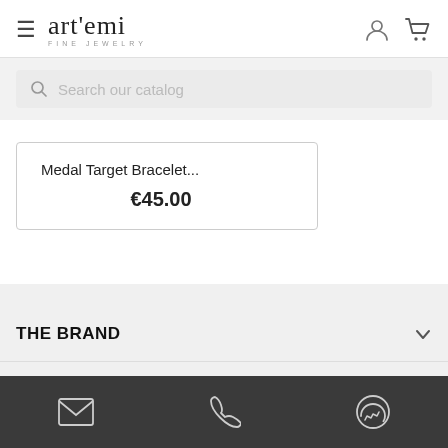art'emi FINE JEWELRY
Search our catalog
Medal Target Bracelet... €45.00
THE BRAND
NEWS
[Figure (infographic): Footer bottom bar with email, phone, and messenger icons]